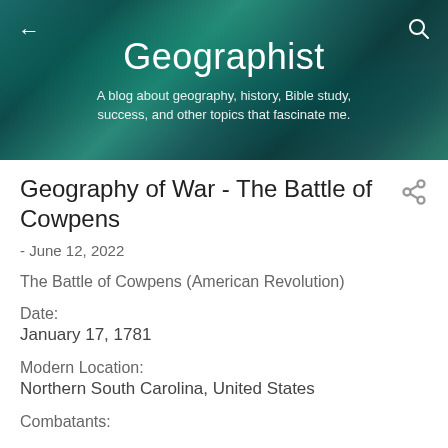Geographist
A blog about geography, history, Bible study, success, and other topics that fascinate me.
Geography of War - The Battle of Cowpens
- June 12, 2022
The Battle of Cowpens (American Revolution)
Date:
January 17, 1781
Modern Location:
Northern South Carolina, United States
Combatants: